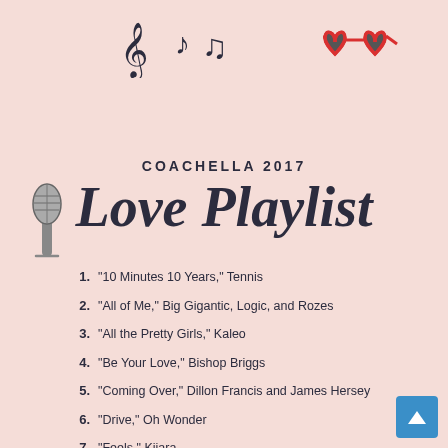[Figure (illustration): Music notes (treble clef, eighth notes) in dark navy color]
[Figure (illustration): Red heart-shaped sunglasses illustration]
[Figure (illustration): Microphone illustration in grayscale]
COACHELLA 2017
Love Playlist
"10 Minutes 10 Years," Tennis
"All of Me," Big Gigantic, Logic, and Rozes
"All the Pretty Girls," Kaleo
"Be Your Love," Bishop Briggs
"Coming Over," Dillon Francis and James Hersey
"Drive," Oh Wonder
"Feels," Kiiara
"Get to Know Ya," Nao
"Girl at Coachella," Matoma, MAGIC!, and D.R.A.M.